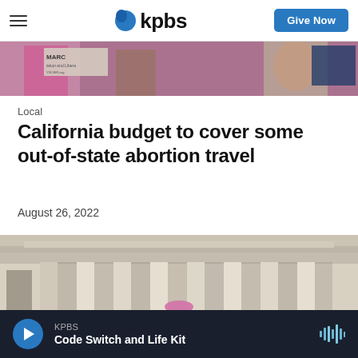KPBS — Give Now
[Figure (photo): Protest image with people holding signs including a pink MARCH sign, cropped at top]
Local
California budget to cover some out-of-state abortion travel
August 26, 2022
[Figure (photo): Photo of a neoclassical building with large columns, person in pink hat visible at bottom]
KPBS — Code Switch and Life Kit